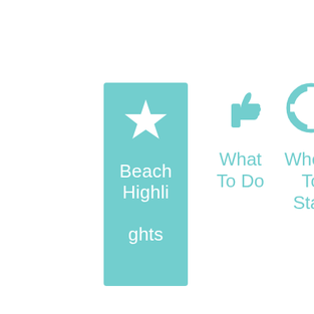[Figure (infographic): Teal rounded rectangle box containing a white star icon above the text 'Beach Highlights' (split across lines). Represents a navigation/menu tile for Beach Highlights section.]
[Figure (infographic): Teal thumbs-up icon above the text 'What To Do'. Represents a navigation/menu tile for What To Do section.]
[Figure (infographic): Teal lifebuoy/life ring icon above the text 'Where To Stay'. Represents a navigation/menu tile for Where To Stay section.]